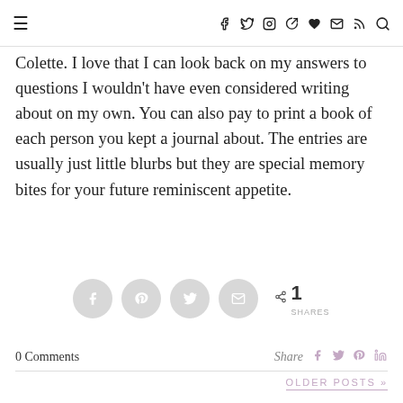≡ f ♥ ✉ RSS ♡ ✉ )))  🔍
Colette. I love that I can look back on my answers to questions I wouldn't have even considered writing about on my own. You can also pay to print a book of each person you kept a journal about. The entries are usually just little blurbs but they are special memory bites for your future reminiscent appetite.
0 Comments   Share
OLDER POSTS »